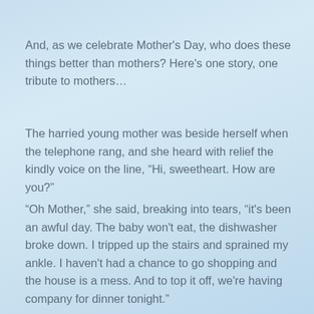And, as we celebrate Mother's Day, who does these things better than mothers? Here's one story, one tribute to mothers…
The harried young mother was beside herself when the telephone rang, and she heard with relief the kindly voice on the line, “Hi, sweetheart. How are you?”
“Oh Mother,” she said, breaking into tears, “it's been an awful day. The baby won't eat, the dishwasher broke down. I tripped up the stairs and sprained my ankle. I haven't had a chance to go shopping and the house is a mess. And to top it off, we're having company for dinner tonight.”